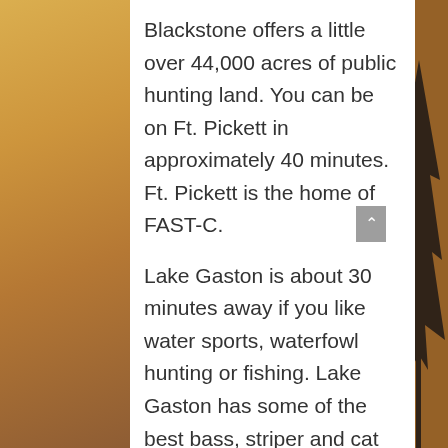Blackstone offers a little over 44,000 acres of public hunting land. You can be on Ft. Pickett in approximately 40 minutes. Ft. Pickett is the home of FAST-C.
Lake Gaston is about 30 minutes away if you like water sports, waterfowl hunting or fishing. Lake Gaston has some of the best bass, striper and cat fishing in the state. Lake Gaston is not a city or township, but rather a community of the privately owned property surrounding the Lake (no public parks, but public boat ramps). The 20,000+ acre lake has 350 miles...